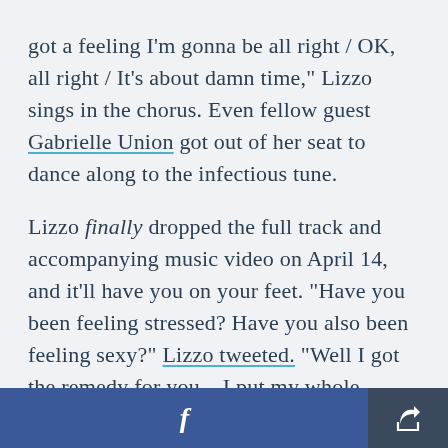got a feeling I'm gonna be all right / OK, all right / It's about damn time," Lizzo sings in the chorus. Even fellow guest Gabrielle Union got out of her seat to dance along to the infectious tune.
Lizzo finally dropped the full track and accompanying music video on April 14, and it'll have you on your feet. "Have you been feeling stressed? Have you also been feeling sexy?" Lizzo tweeted. "Well I got the remedy for you... I put my whole Lizussy in this one!" She also announced that
[Figure (other): Footer bar with Facebook share button (blue) and a generic share button (dark slate)]